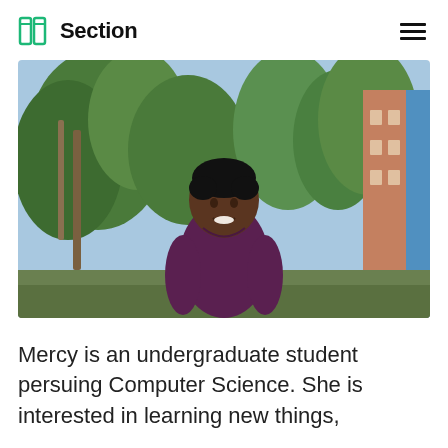Section
[Figure (photo): A young woman in a purple top smiling outdoors, with trees and a colorful building in the background.]
Mercy is an undergraduate student persuing Computer Science. She is interested in learning new things,